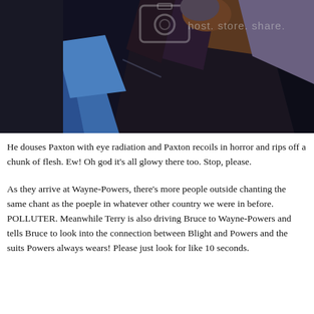[Figure (illustration): Animated scene from Batman Beyond showing dark-clothed figures (likely Blight/villain and Paxton Powers) in a dark setting with blue geometric shapes. A watermark reads 'host. store. share.' appears in the upper right.]
He douses Paxton with eye radiation and Paxton recoils in horror and rips off a chunk of flesh. Ew! Oh god it's all glowy there too. Stop, please.
As they arrive at Wayne-Powers, there's more people outside chanting the same chant as the poeple in whatever other country we were in before. POLLUTER. Meanwhile Terry is also driving Bruce to Wayne-Powers and tells Bruce to look into the connection between Blight and Powers and the suits Powers always wears! Please just look for like 10 seconds.